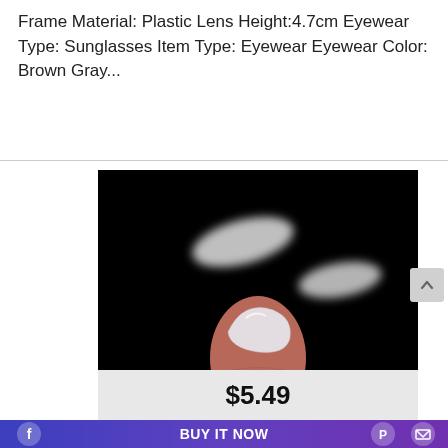Frame Material: Plastic Lens Height:4.7cm Eyewear Type: Sunglasses Item Type: Eyewear Eyewear Color: Brown Gray...
[Figure (photo): Close-up product photo on black background showing transparent silicone nose pads for eyeglasses; a finger holds one pad in the foreground, with two more pads visible in the background.]
$5.49
BUY IT NOW